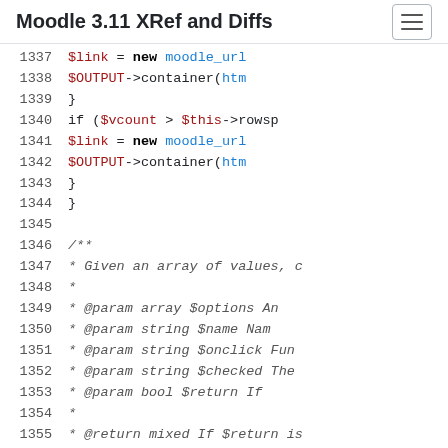Moodle 3.11 XRef and Diffs
[Figure (screenshot): Code viewer showing PHP source lines 1337-1355 from Moodle 3.11, including variable assignments, if-conditions, and a PHPDoc comment block with @param and @return tags.]